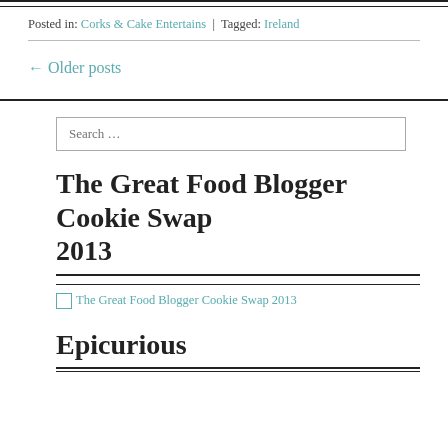Posted in: Corks & Cake Entertains  |  Tagged: Ireland
← Older posts
Search …
The Great Food Blogger Cookie Swap 2013
[Figure (other): Broken image link: The Great Food Blogger Cookie Swap 2013]
Epicurious